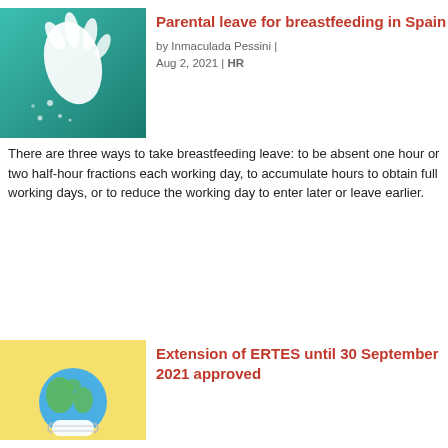[Figure (photo): Teal/green background with a white ceramic or marble hand sculpture dripping liquid, with small droplets scattered around.]
Parental leave for breastfeeding in Spain
by Inmaculada Pessini | Aug 2, 2021 | HR
There are three ways to take breastfeeding leave: to be absent one hour or two half-hour fractions each working day, to accumulate hours to obtain full working days, or to reduce the working day to enter later or leave earlier.
[Figure (illustration): Yellow background with a globe/Earth wearing a face mask, illustrated style.]
Extension of ERTES until 30 September 2021 approved